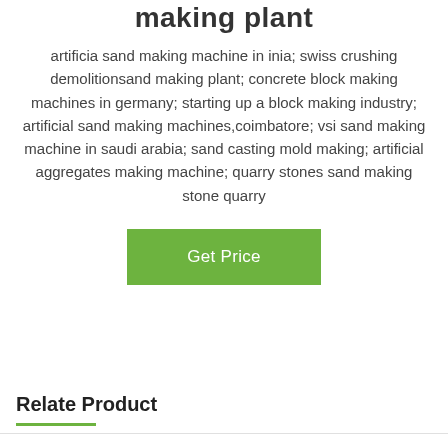making plant
artificia sand making machine in inia; swiss crushing demolitionsand making plant; concrete block making machines in germany; starting up a block making industry; artificial sand making machines,coimbatore; vsi sand making machine in saudi arabia; sand casting mold making; artificial aggregates making machine; quarry stones sand making stone quarry
[Figure (other): Green 'Get Price' button]
Relate Product